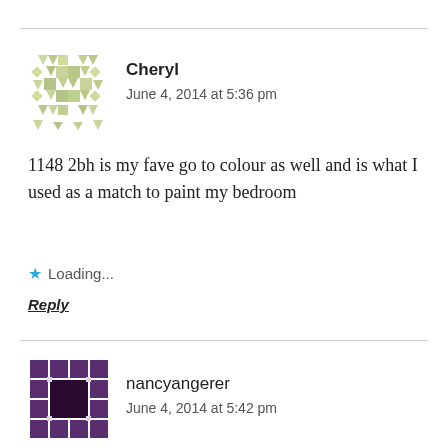[Figure (illustration): Green geometric mosaic avatar for user Cheryl]
Cheryl
June 4, 2014 at 5:36 pm
1148 2bh is my fave go to colour as well and is what I used as a match to paint my bedroom
★ Loading...
Reply
[Figure (illustration): Dark purple/black mosaic avatar for user nancyangerer]
nancyangerer
June 4, 2014 at 5:42 pm